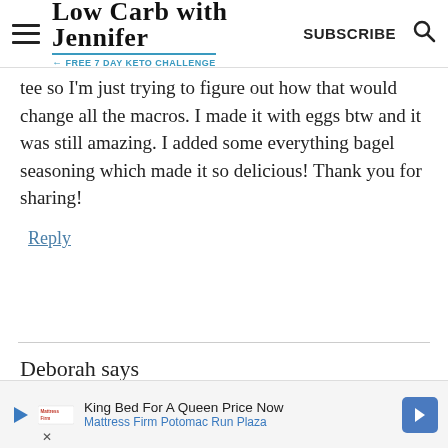Low Carb with Jennifer – FREE 7 DAY KETO CHALLENGE | SUBSCRIBE
tee so I'm just trying to figure out how that would change all the macros. I made it with eggs btw and it was still amazing. I added some everything bagel seasoning which made it so delicious! Thank you for sharing!
Reply
Deborah says
[Figure (other): Advertisement banner: King Bed For A Queen Price Now – Mattress Firm Potomac Run Plaza]